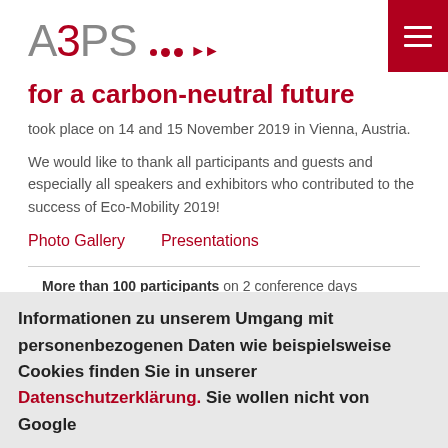A3PS [logo with dots and arrow]
for a carbon-neutral future
took place on 14 and 15 November 2019 in Vienna, Austria.
We would like to thank all participants and guests and especially all speakers and exhibitors who contributed to the success of Eco-Mobility 2019!
Photo Gallery    Presentations
More than 100 participants on 2 conference days
4 international keynote presentations from politics, industry and R&D institutions
16 specialist presentations in 4 sessions:
Informationen zu unserem Umgang mit personenbezogenen Daten wie beispielsweise Cookies finden Sie in unserer Datenschutzerklärung. Sie wollen nicht von Google